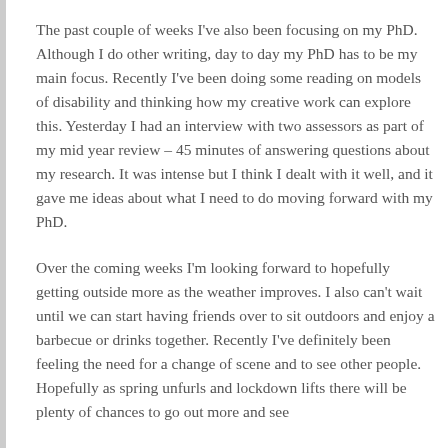The past couple of weeks I've also been focusing on my PhD. Although I do other writing, day to day my PhD has to be my main focus. Recently I've been doing some reading on models of disability and thinking how my creative work can explore this. Yesterday I had an interview with two assessors as part of my mid year review – 45 minutes of answering questions about my research. It was intense but I think I dealt with it well, and it gave me ideas about what I need to do moving forward with my PhD.
Over the coming weeks I'm looking forward to hopefully getting outside more as the weather improves. I also can't wait until we can start having friends over to sit outdoors and enjoy a barbecue or drinks together. Recently I've definitely been feeling the need for a change of scene and to see other people. Hopefully as spring unfurls and lockdown lifts there will be plenty of chances to go out more and see...